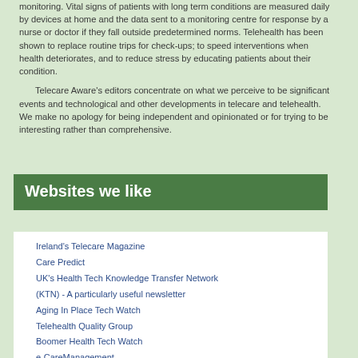monitoring. Vital signs of patients with long term conditions are measured daily by devices at home and the data sent to a monitoring centre for response by a nurse or doctor if they fall outside predetermined norms. Telehealth has been shown to replace routine trips for check-ups; to speed interventions when health deteriorates, and to reduce stress by educating patients about their condition.

Telecare Aware's editors concentrate on what we perceive to be significant events and technological and other developments in telecare and telehealth. We make no apology for being independent and opinionated or for trying to be interesting rather than comprehensive.
Websites we like
Ireland's Telecare Magazine
Care Predict
UK's Health Tech Knowledge Transfer Network (KTN) - A particularly useful newsletter
Aging In Place Tech Watch
Telehealth Quality Group
Boomer Health Tech Watch
e-CareManagement
ISfTeH
mHealth Insight (was 3G Doctor)
The Telecare Blog